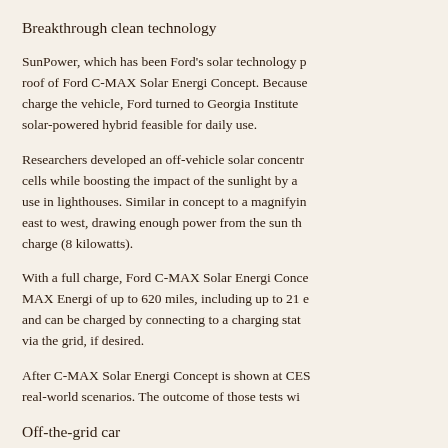Breakthrough clean technology
SunPower, which has been Ford's solar technology p... roof of Ford C-MAX Solar Energi Concept. Because charge the vehicle, Ford turned to Georgia Institute solar-powered hybrid feasible for daily use.
Researchers developed an off-vehicle solar concentr... cells while boosting the impact of the sunlight by a ... use in lighthouses. Similar in concept to a magnifyin east to west, drawing enough power from the sun th... charge (8 kilowatts).
With a full charge, Ford C-MAX Solar Energi Conce... MAX Energi of up to 620 miles, including up to 21 e... and can be charged by connecting to a charging stat... via the grid, if desired.
After C-MAX Solar Energi Concept is shown at CES... real-world scenarios. The outcome of those tests wi...
Off-the-grid car